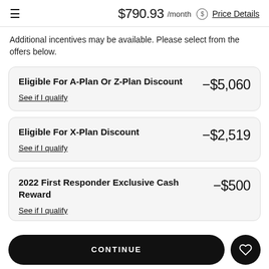$790.93 /month  Price Details
Additional incentives may be available. Please select from the offers below.
Eligible For A-Plan Or Z-Plan Discount  -$5,060  See if I qualify
Eligible For X-Plan Discount  -$2,519  See if I qualify
2022 First Responder Exclusive Cash Reward  -$500  See if I qualify
CONTINUE